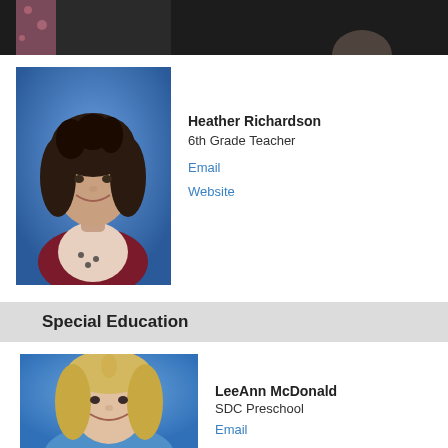[Figure (photo): Partial cropped photo of a person at top of page, dark background]
[Figure (photo): Portrait photo of Heather Richardson with curly dark hair, wearing maroon cardigan, blue background]
Heather Richardson
6th Grade Teacher
Email
Website
Special Education
[Figure (photo): Portrait photo of LeeAnn McDonald with blonde hair, smiling, blue background]
LeeAnn McDonald
SDC Preschool
Email